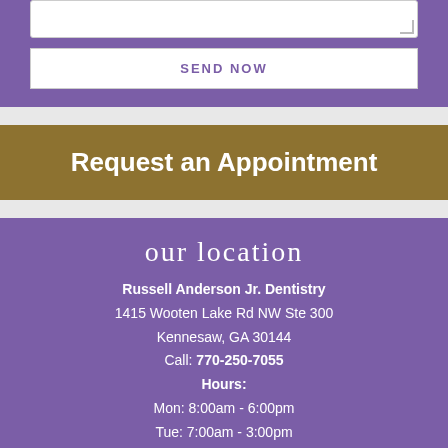[Figure (screenshot): A textarea input box with a resize handle at the bottom right, part of a web form on a purple background.]
SEND NOW
Request an Appointment
our location
Russell Anderson Jr. Dentistry
1415 Wooten Lake Rd NW Ste 300
Kennesaw, GA 30144
Call: 770-250-7055
Hours:
Mon: 8:00am - 6:00pm
Tue: 7:00am - 3:00pm
Wed: 8:00am - 6:00pm
Thu: 7:00am - 3:00pm